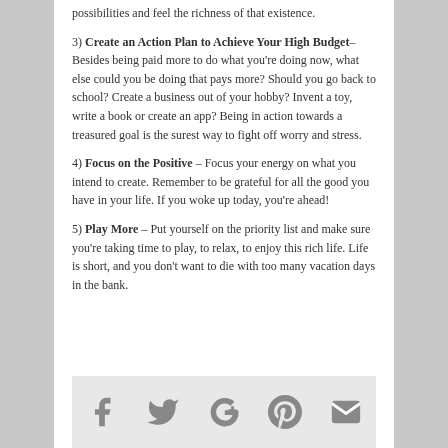3) Create an Action Plan to Achieve Your High Budget – Besides being paid more to do what you're doing now, what else could you be doing that pays more? Should you go back to school? Create a business out of your hobby? Invent a toy, write a book or create an app? Being in action towards a treasured goal is the surest way to fight off worry and stress.
4) Focus on the Positive – Focus your energy on what you intend to create. Remember to be grateful for all the good you have in your life. If you woke up today, you're ahead!
5) Play More – Put yourself on the priority list and make sure you're taking time to play, to relax, to enjoy this rich life. Life is short, and you don't want to die with too many vacation days in the bank.
[Figure (infographic): Social sharing icons bar showing Facebook, Twitter, Google+, Pinterest, and Email icons in gray]